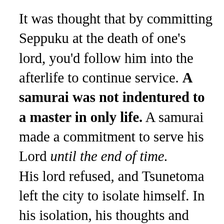It was thought that by committing Seppuku at the death of one's lord, you'd follow him into the afterlife to continue service. A samurai was not indentured to a master in only life. A samurai made a commitment to serve his Lord until the end of time.
His lord refused, and Tsunetoma left the city to isolate himself. In his isolation, his thoughts and conversations were compiled to